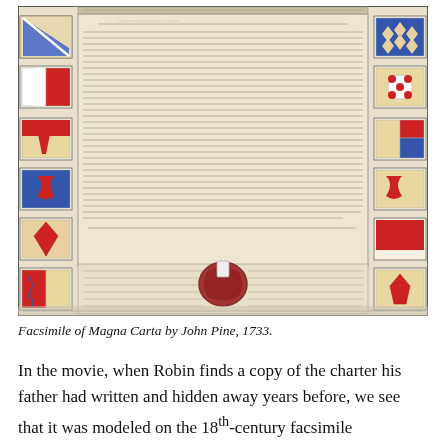[Figure (photo): Facsimile of Magna Carta by John Pine, 1733. The document shows dense Latin handwritten text in the center, surrounded by a decorative border of heraldic shields and coats of arms in red, blue, gold, and white. A red wax seal is visible near the bottom center.]
Facsimile of Magna Carta by John Pine, 1733.
In the movie, when Robin finds a copy of the charter his father had written and hidden away years before, we see that it was modeled on the 18th-century facsimile